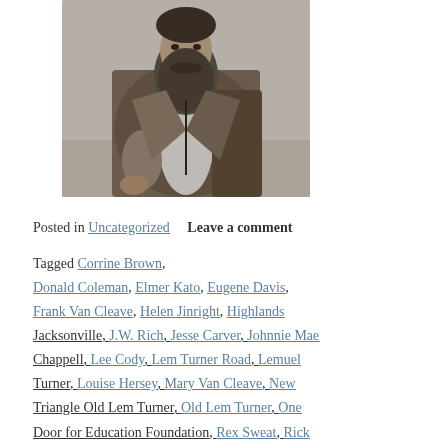[Figure (photo): Black and white photograph of a bearded man in Victorian-era clothing, seated, wearing an open jacket and vest]
Posted in Uncategorized   Leave a comment
Tagged Corrine Brown, Donald Coleman, Elmer Kato, Eugene Davis, Frank Van Cleave, Helen Jinright, Highlands Jacksonville, J.W. Rich, Jesse Carver, Johnnie Mae Chappell, Lee Cody, Lem Turner Road, Lemuel Turner, Louise Hersey, Mary Van Cleave, New Triangle Old Lem Turner, Old Lem Turner, One Door for Education Foundation, Rex Sweat, Rick Van Cleave, Silver Star Avenue B, Sonny's Lake